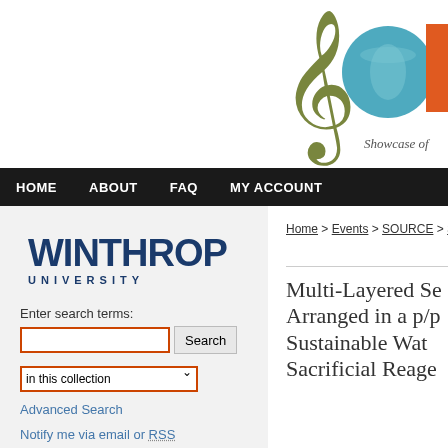[Figure (logo): SOURCE - Showcase of University Research and Creative Excellence logo with musical note and globe icon]
HOME   ABOUT   FAQ   MY ACCOUNT
[Figure (logo): Winthrop University logo]
Enter search terms:
in this collection
Advanced Search
Notify me via email or RSS
Home > Events > SOURCE > SO...
Multi-Layered Se... Arranged in a p/p... Sustainable Wat... Sacrificial Reage...